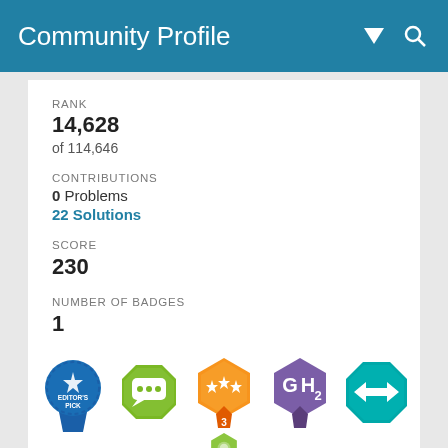Community Profile
RANK
14,628
of 114,646
CONTRIBUTIONS
0 Problems
22 Solutions
SCORE
230
NUMBER OF BADGES
1
[Figure (illustration): Row of 5 badge icons: Editor's Pick (blue medallion), Chat bubble badge (green octagon), Star rating badge with 3 (orange hexagon with ribbon), GH2 badge (purple hexagon), Arrow badge (teal octagon). Plus a partial green badge at bottom.]